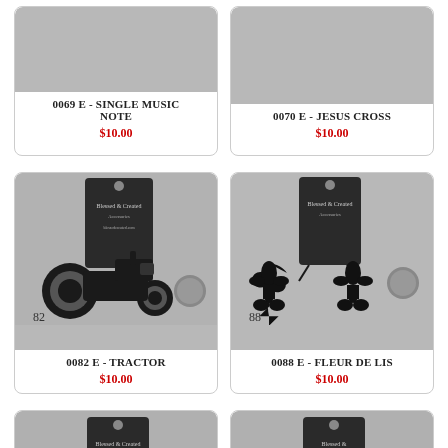[Figure (photo): Partial product card for 0069 E - Single Music Note earrings, top cut off, showing product name and price]
0069 E - SINGLE MUSIC NOTE
$10.00
[Figure (photo): Partial product card for 0070 E - Jesus Cross earrings, top cut off, showing product name and price]
0070 E - JESUS CROSS
$10.00
[Figure (photo): Product photo of 0082 E - Tractor black laser cut earrings with brand card tag, labeled 82]
0082 E - TRACTOR
$10.00
[Figure (photo): Product photo of 0088 E - Fleur De Lis black laser cut earrings with brand card tag and dime for scale, labeled 88]
0088 E - FLEUR DE LIS
$10.00
[Figure (photo): Partial bottom product card, showing only top portion of photo with brand card tag]
[Figure (photo): Partial bottom product card, showing only top portion of photo with brand card tag]